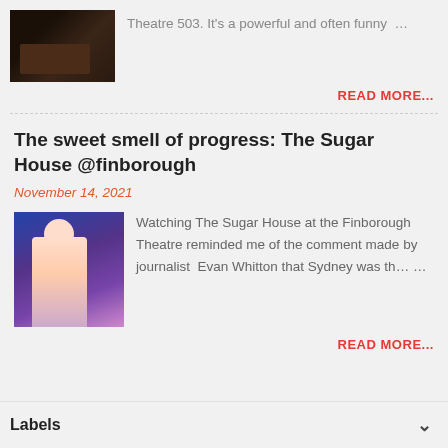[Figure (photo): Dark interior photo showing antique furniture]
Theatre 503. It's a powerful and often funny …
READ MORE...
The sweet smell of progress: The Sugar House @finborough
November 14, 2021
[Figure (photo): Theatre production photo showing a young woman with arms crossed, stage lit in blue/purple]
Watching The Sugar House at the Finborough Theatre reminded me of the comment made by journalist Evan Whitton that Sydney was th… …
READ MORE...
Labels